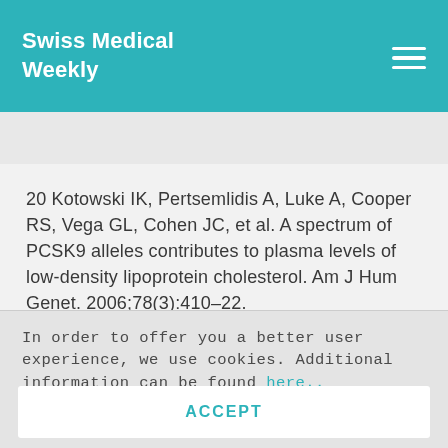Swiss Medical Weekly
◀ Collection 2016/31
20 Kotowski IK, Pertsemlidis A, Luke A, Cooper RS, Vega GL, Cohen JC, et al. A spectrum of PCSK9 alleles contributes to plasma levels of low-density lipoprotein cholesterol. Am J Hum Genet. 2006;78(3):410–22.
In order to offer you a better user experience, we use cookies. Additional information can be found here..
ACCEPT